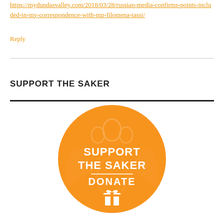https://mydundasvalley.com/2018/03/28/russian-media-confirms-points-included-in-my-correspondence-with-mp-filomena-tassi/
Reply
SUPPORT THE SAKER
[Figure (logo): Orange circular button with white text reading 'SUPPORT THE SAKER DONATE' and a gift icon, with a faint crown/eagle watermark in the background.]